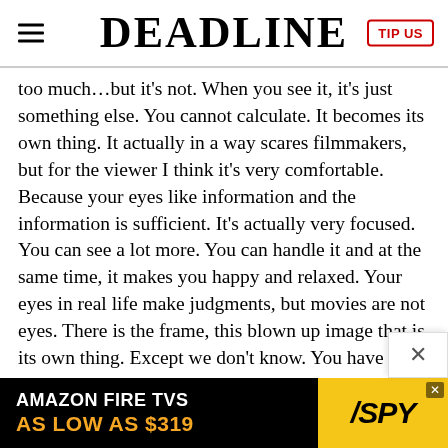DEADLINE | TIP US
too much…but it's not. When you see it, it's just something else. You cannot calculate. It becomes its own thing. It actually in a way scares filmmakers, but for the viewer I think it's very comfortable. Because your eyes like information and the information is sufficient. It's actually very focused. You can see a lot more. You can handle it and at the same time, it makes you happy and relaxed. Your eyes in real life make judgments, but movies are not eyes. There is the frame, this blown up image that is its own thing. Except we don't know. You have to see the monitor to see it, but the monitor is 60 frames per second. That's the highest it will go, and it has half the resolution of HD or two thirds. My only judgment is my booth, my 3D monitor.
DEADLINE: But at least you can tell when your shot looks twice as realistic as what you're looking at on the monitor.
[Figure (screenshot): Amazon Fire TVs advertisement banner: 'AMAZON FIRE TVS AS LOW AS $319' with SPY logo on yellow background]